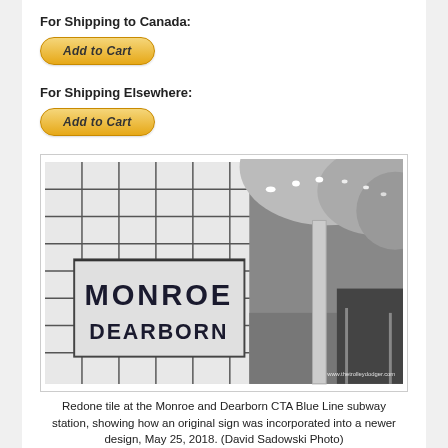For Shipping to Canada:
[Figure (other): Add to Cart button (PayPal style, for shipping to Canada)]
For Shipping Elsewhere:
[Figure (other): Add to Cart button (PayPal style, for shipping elsewhere)]
[Figure (photo): Black and white photo of Monroe/Dearborn CTA Blue Line subway station showing tiled wall with station name sign and platform/tracks. Watermark: www.thetrolleydodger.com]
Redone tile at the Monroe and Dearborn CTA Blue Line subway station, showing how an original sign was incorporated into a newer design, May 25, 2018. (David Sadowski Photo)